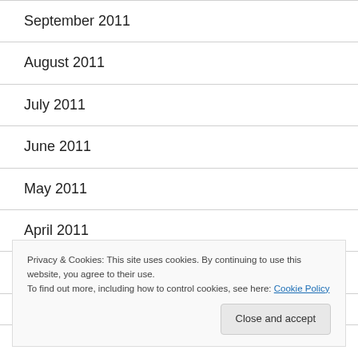September 2011
August 2011
July 2011
June 2011
May 2011
April 2011
March 2011
Privacy & Cookies: This site uses cookies. By continuing to use this website, you agree to their use.
To find out more, including how to control cookies, see here: Cookie Policy
November 2010